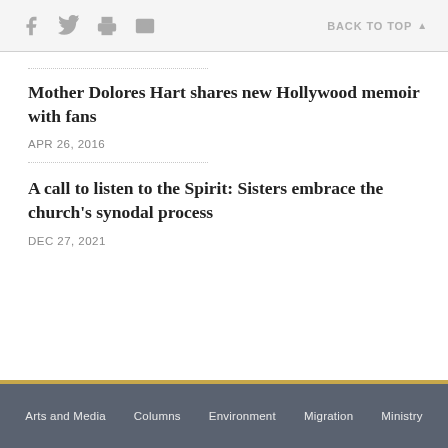f [twitter] [print] [email]   BACK TO TOP ▲
Mother Dolores Hart shares new Hollywood memoir with fans
APR 26, 2016
A call to listen to the Spirit: Sisters embrace the church's synodal process
DEC 27, 2021
Arts and Media   Columns   Environment   Migration   Ministry